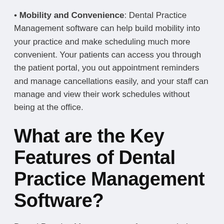Mobility and Convenience: Dental Practice Management software can help build mobility into your practice and make scheduling much more convenient. Your patients can access you through the patient portal, you out appointment reminders and manage cancellations easily, and your staff can manage and view their work schedules without being at the office.
What are the Key Features of Dental Practice Management Software?
Dental Practice Management software can help your streamline administrative tasks, get more patients in your chairs, and make scheduling and billing a much smoother experience for you and your patients. An